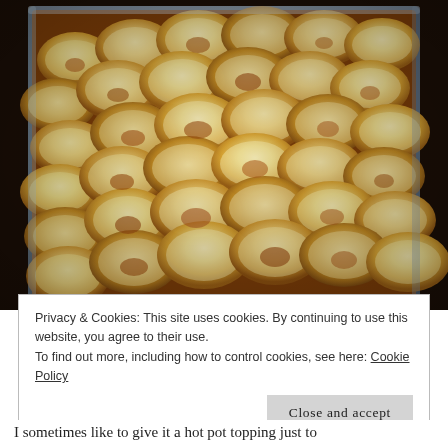[Figure (photo): Close-up photograph of sliced potatoes arranged in overlapping rows in a glass baking dish, golden brown and roasted, resembling a hotpot topping.]
Privacy & Cookies: This site uses cookies. By continuing to use this website, you agree to their use.
To find out more, including how to control cookies, see here: Cookie Policy
Close and accept
I sometimes like to give it a hot pot topping just to